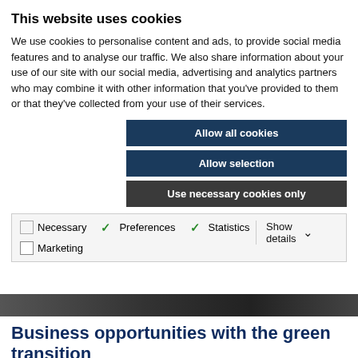This website uses cookies
We use cookies to personalise content and ads, to provide social media features and to analyse our traffic. We also share information about your use of our site with our social media, advertising and analytics partners who may combine it with other information that you've provided to them or that they've collected from your use of their services.
Allow all cookies
Allow selection
Use necessary cookies only
Necessary  Preferences  Statistics  Marketing  Show details
[Figure (photo): Partial photo strip showing people, dark background]
Business opportunities with the green transition
2022-05-12 Today, H2 Green Steel, SSAB, IUC Norr and Luleå University of Technology with the future areas Creaternity and SUN, as well as the hydrogen investment CH2ESS held an inspiring workshop at